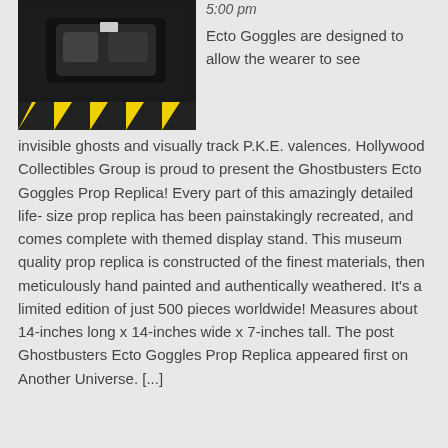[Figure (photo): Photo of Ghostbusters Ecto Goggles prop replica on a black display stand with yellow and black striped border at the bottom]
5:00 pm
Ecto Goggles are designed to allow the wearer to see invisible ghosts and visually track P.K.E. valences. Hollywood Collectibles Group is proud to present the Ghostbusters Ecto Goggles Prop Replica! Every part of this amazingly detailed life- size prop replica has been painstakingly recreated, and comes complete with themed display stand. This museum quality prop replica is constructed of the finest materials, then meticulously hand painted and authentically weathered. It's a limited edition of just 500 pieces worldwide! Measures about 14-inches long x 14-inches wide x 7-inches tall. The post Ghostbusters Ecto Goggles Prop Replica appeared first on Another Universe. [...]